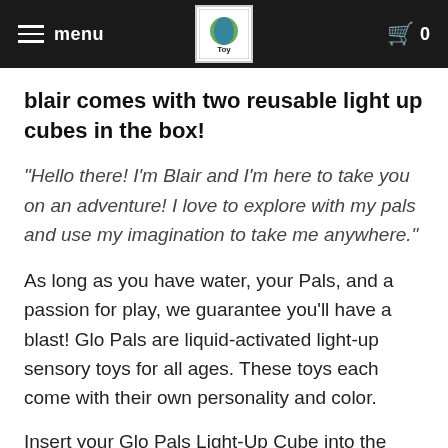menu | [Toy logo] | 0
blair comes with two reusable light up cubes in the box!
“Hello there! I’m Blair and I’m here to take you on an adventure! I love to explore with my pals and use my imagination to take me anywhere.”
As long as you have water, your Pals, and a passion for play, we guarantee you’ll have a blast! Glo Pals are liquid-activated light-up sensory toys for all ages. These toys each come with their own personality and color.
Insert your Glo Pals Light-Up Cube into the back of each Pal, drop it in the water, and